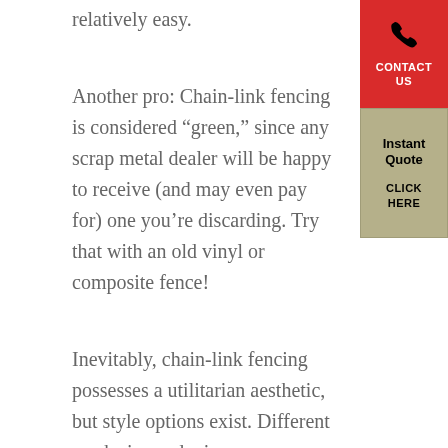relatively easy.
Another pro: Chain-link fencing is considered "green," since any scrap metal dealer will be happy to receive (and may even pay for) one you're discarding. Try that with an old vinyl or composite fence!
[Figure (other): Red contact us button widget with phone icon]
[Figure (other): Tan/beige Instant Quote click here widget]
Inevitably, chain-link fencing possesses a utilitarian aesthetic, but style options exist. Different mesh sizes and wire gauges are available, and the polymer coatings now come in colors, such as brown, green, and black—any of these provides a softer look than silver. When installed among shrubs or along the border of wooded areas, it's possible for a chain-link fence to be nearly invisible, especially if outfitted with fabrics or lattice panels.